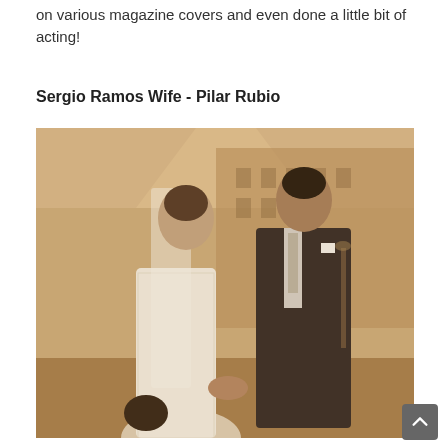on various magazine covers and even done a little bit of acting!
Sergio Ramos Wife - Pilar Rubio
[Figure (photo): Wedding photo of a couple holding hands outdoors in front of a historic building. The woman is wearing a white lace wedding dress with a veil, and the man is wearing a dark suit with a floral tie. They are looking at each other and smiling.]